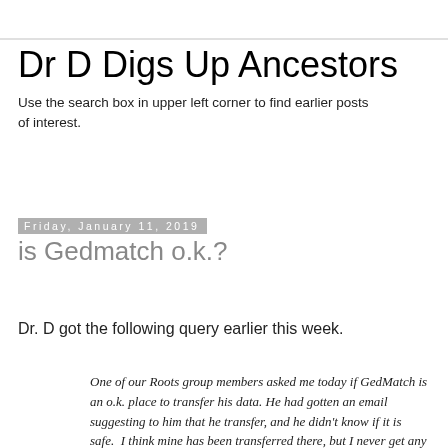Dr D Digs Up Ancestors
Use the search box in upper left corner to find earlier posts of interest.
Friday, January 11, 2019
is Gedmatch o.k.?
Dr. D got the following query earlier this week.
One of our Roots group members asked me today if GedMatch is an o.k. place to transfer his data. He had gotten an email suggesting to him that he transfer, and he didn't know if it is safe.  I think mine has been transferred there, but I never get any emails from them telling me if I have matches.